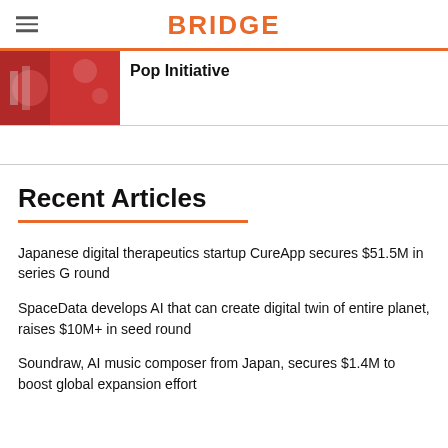BRIDGE
Pop Initiative
Recent Articles
Japanese digital therapeutics startup CureApp secures $51.5M in series G round
SpaceData develops AI that can create digital twin of entire planet, raises $10M+ in seed round
Soundraw, AI music composer from Japan, secures $1.4M to boost global expansion effort